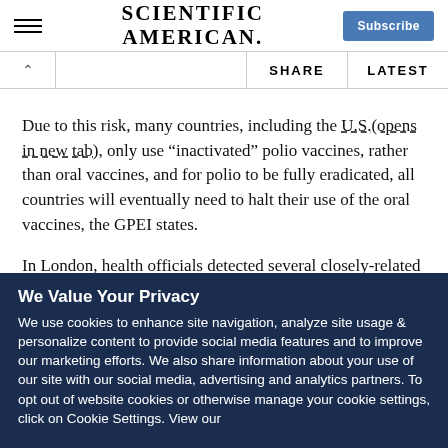SCIENTIFIC AMERICAN
Due to this risk, many countries, including the U.S.(opens in new tab), only use “inactivated” polio vaccines, rather than oral vaccines, and for polio to be fully eradicated, all countries will eventually need to halt their use of the oral vaccines, the GPEI states.
In London, health officials detected several closely-related polioviruses in sewage samples collected between February
We Value Your Privacy
We use cookies to enhance site navigation, analyze site usage & personalize content to provide social media features and to improve our marketing efforts. We also share information about your use of our site with our social media, advertising and analytics partners. To opt out of website cookies or otherwise manage your cookie settings, click on Cookie Settings. View our